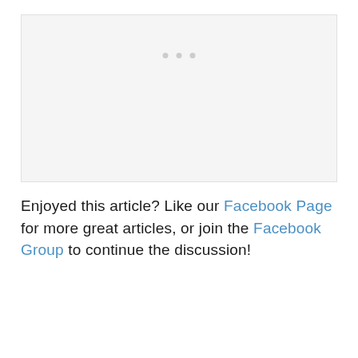[Figure (other): Gray placeholder box with three small gray dots centered near the top, representing a loading or image placeholder area]
Enjoyed this article? Like our Facebook Page for more great articles, or join the Facebook Group to continue the discussion!